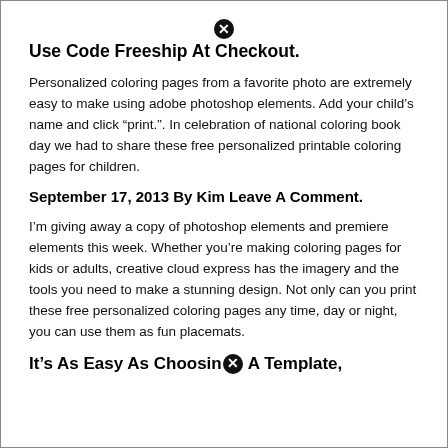Use Code Freeship At Checkout.
Personalized coloring pages from a favorite photo are extremely easy to make using adobe photoshop elements. Add your child’s name and click “print.”. In celebration of national coloring book day we had to share these free personalized printable coloring pages for children.
September 17, 2013 By Kim Leave A Comment.
I’m giving away a copy of photoshop elements and premiere elements this week. Whether you’re making coloring pages for kids or adults, creative cloud express has the imagery and the tools you need to make a stunning design. Not only can you print these free personalized coloring pages any time, day or night, you can use them as fun placemats.
It’s As Easy As Choosing A Template,